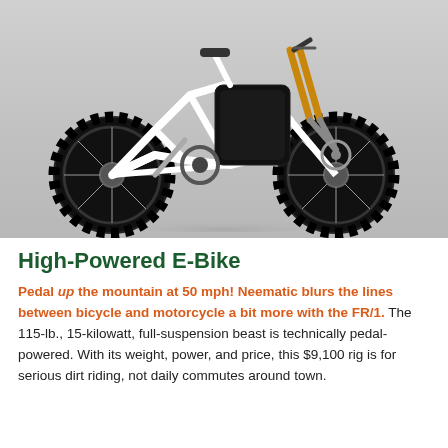[Figure (photo): A high-powered electric mountain bike (Neematic FR/1) with a white lattice frame, large knobby tires, orange suspension forks, and a black battery/motor unit, photographed against a light grey gradient background.]
High-Powered E-Bike
Pedal up the mountain at 50 mph! Neematic blurs the lines between bicycle and motorcycle a bit more with the FR/1. The 115-lb., 15-kilowatt, full-suspension beast is technically pedal-powered. With its weight, power, and price, this $9,100 rig is for serious dirt riding, not daily commutes around town.